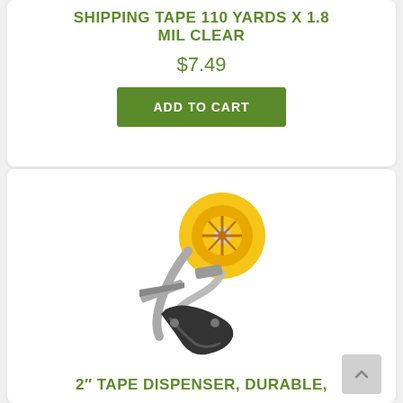SHIPPING TAPE 110 YARDS X 1.8 MIL CLEAR
$7.49
ADD TO CART
[Figure (photo): A tape dispenser with yellow spool holder and dark grey handle, metal frame, side view]
2″ TAPE DISPENSER, DURABLE,